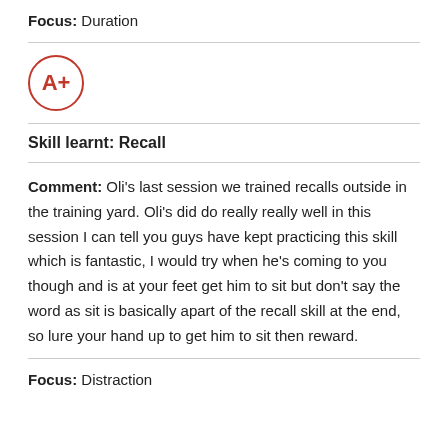Focus: Duration
[Figure (other): A+ grade circle badge in red outline]
Skill learnt: Recall
Comment: Oli's last session we trained recalls outside in the training yard. Oli's did do really really well in this session I can tell you guys have kept practicing this skill which is fantastic, I would try when he's coming to you though and is at your feet get him to sit but don't say the word as sit is basically apart of the recall skill at the end, so lure your hand up to get him to sit then reward.
Focus: Distraction